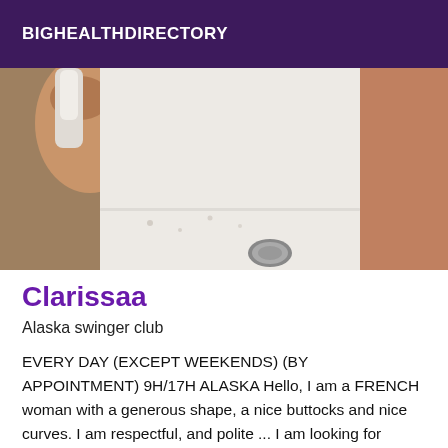BIGHEALTHDIRECTORY
[Figure (photo): A person holding a shower head over a bathtub, close-up view showing hand, shower fixture, and tiled/white surfaces]
Clarissaa
Alaska swinger club
EVERY DAY (EXCEPT WEEKENDS) (BY APPOINTMENT) 9H/17H ALASKA Hello, I am a FRENCH woman with a generous shape, a nice buttocks and nice curves. I am respectful, and polite ... I am looking for mature and courteous men ... I am here to relax and enjoy the present moment I will fulfill your